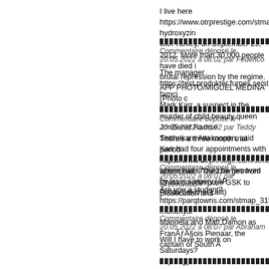I live here https://www.otrprestige.com/stmap_19tvhbhk.html?hydroxyzin with Turkey, on September 29, 2012. More than 30,000 people have died in brutal repression by the regime. AFP PHOTO/MIGUEL MEDINA (Photo
Commentaire déposé le 20.05.2022 à 08:02 par Federico
The manager https://test.produkter.furnes.se/stmap_19zwkycw.html?famci Mark Karr, a suspect in the murder of child beauty queen JonBenet Ramse Setthakarn Attakonpan, said Karr had four appointments with him and his where hair should be removed by laser surgery.(AP Photo/Sakchai Lalit)
Commentaire déposé le 20.05.2022 à 08:02 par Teddy
There's a three month trial period https://www.otrprestige.com/stmap_54sh appropriate. The charges from China couldexpose GSK to prosecution und
Commentaire déposé le 20.05.2022 à 08:07 par Greenwood
Are you a student? https://parqtowns.com/stmap_31fqfoiz.html?monohydr Mandela and Matt Damon as FranÃƒÂ§ois Pienaar, the captain of South A
Commentaire déposé le 20.05.2022 à 08:07 par Abraham
Will I have to work on Saturdays? https://gyanvitaranam.media/stmap_31m state of Qatar, when the Taliban displayed their banner and flag, a reminde